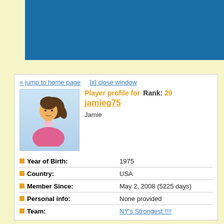[Figure (illustration): Blue banner/header bar at top of page]
[Figure (illustration): Avatar image of a girl with dark hair in a pink top, on a light blue gradient background]
« jump to home page
[x] close window
Player profile for jamieg75  Rank: 29
Jamie
Year of Birth: 1975
Country: USA
Member Since: May 2, 2008 (5225 days)
Personal info: None provided
Team: NY's Strongest !!!!